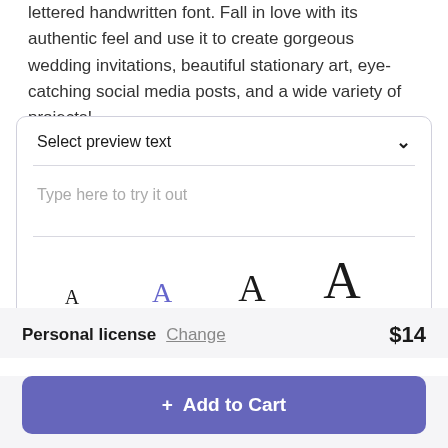lettered handwritten font. Fall in love with its authentic feel and use it to create gorgeous wedding invitations, beautiful stationary art, eye-catching social media posts, and a wide variety of projects!
[Figure (screenshot): Font preview widget with 'Select preview text' dropdown, a text input area with placeholder 'Type here to try it out', and four font size options: 24pt (small A), 36pt (medium A in blue/purple), 48pt (larger A), 72pt (largest A)]
Personal license  Change  $14
+ Add to Cart